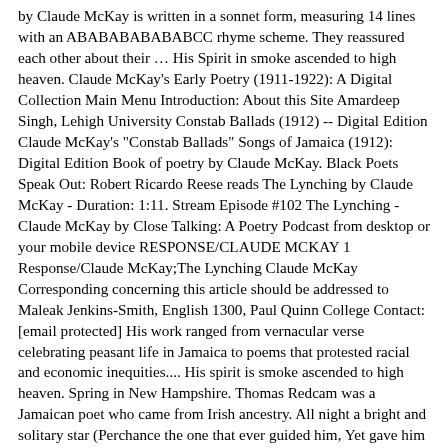by Claude McKay is written in a sonnet form, measuring 14 lines with an ABABABABABABCC rhyme scheme. They reassured each other about their … His Spirit in smoke ascended to high heaven. Claude McKay's Early Poetry (1911-1922): A Digital Collection Main Menu Introduction: About this Site Amardeep Singh, Lehigh University Constab Ballads (1912) -- Digital Edition Claude McKay's "Constab Ballads" Songs of Jamaica (1912): Digital Edition Book of poetry by Claude McKay. Black Poets Speak Out: Robert Ricardo Reese reads The Lynching by Claude McKay - Duration: 1:11. Stream Episode #102 The Lynching - Claude McKay by Close Talking: A Poetry Podcast from desktop or your mobile device RESPONSE/CLAUDE MCKAY 1 Response/Claude McKay;The Lynching Claude McKay Corresponding concerning this article should be addressed to Maleak Jenkins-Smith, English 1300, Paul Quinn College Contact: [email protected] His work ranged from vernacular verse celebrating peasant life in Jamaica to poems that protested racial and economic inequities.... His spirit is smoke ascended to high heaven. Spring in New Hampshire. Thomas Redcam was a Jamaican poet who came from Irish ancestry. All night a bright and solitary star (Perchance the one that ever guided him, Yet gave him up at last to Fate's wild whim) Hung pitifully o'er the swinging char. Claude McKay (Festus Claudius "Claude" McKay) The Lynching lyrics: His spirit is smoke ascended to high heaven. Yet gave him up at last to Fate's wild whim), Day dawned, and soon